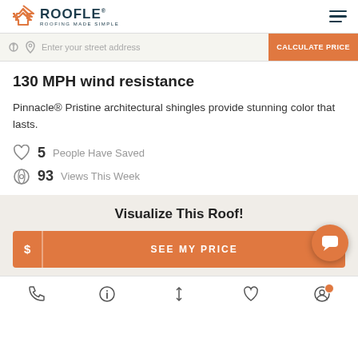ROOFLE — ROOFING MADE SIMPLE
Enter your street address | CALCULATE PRICE
130 MPH wind resistance
Pinnacle® Pristine architectural shingles provide stunning color that lasts.
♡ 5 People Have Saved
⊙ 93 Views This Week
Visualize This Roof!
$ SEE MY PRICE
Phone | Info | Sort | Saved | Account